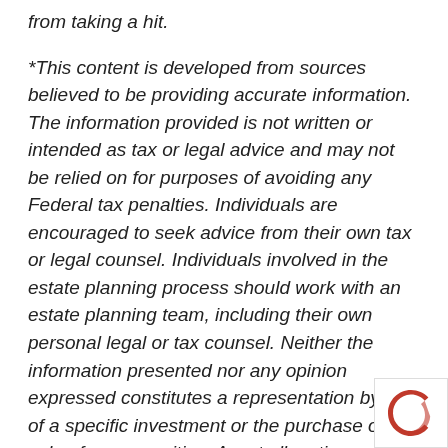from taking a hit.
*This content is developed from sources believed to be providing accurate information. The information provided is not written or intended as tax or legal advice and may not be relied on for purposes of avoiding any Federal tax penalties. Individuals are encouraged to seek advice from their own tax or legal counsel. Individuals involved in the estate planning process should work with an estate planning team, including their own personal legal or tax counsel. Neither the information presented nor any opinion expressed constitutes a representation by us of a specific investment or the purchase or sale of any securities. Asset allocation and diversification do not ensure a profit or protect against loss in declining markets. This material was developed and produced by Advisor Websites to provide information on a topic that may be of interest